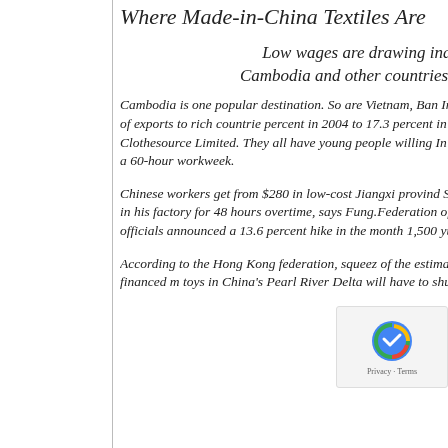Where Made-in-China Textiles Are
Low wages are drawing industries to Cambodia and other countries in Sout
Cambodia is one popular destination. So are Vietnam, Ban Indonesia; their combined share of exports to rich countrie percent in 2004 to 17.3 percent in 2010, according to Oxfo Clothesource Limited. They all have young people willing In Cambodia, that means $76 for a 60-hour workweek.
Chinese workers get from $280 in low-cost Jiangxi provind Shenzhen. That’s take-home pay in his factory for 48 hours overtime, says Fung.Federation of Hong Kong Industries. labor officials announced a 13.6 percent hike in the month 1,500 yuan ($237)…
According to the Hong Kong federation, squeez of the estimated 60,000 Hong Kong-financed m toys in China’s Pearl River Delta will have to shut down o